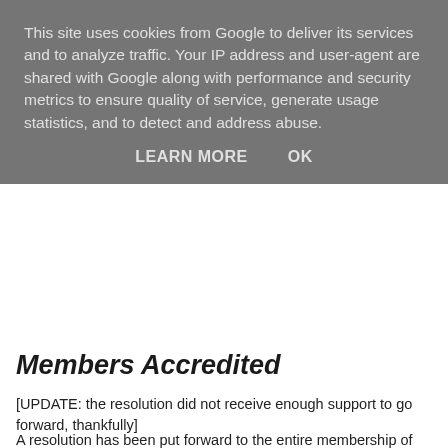This site uses cookies from Google to deliver its services and to analyze traffic. Your IP address and user-agent are shared with Google along with performance and security metrics to ensure quality of service, generate usage statistics, and to detect and address abuse.
LEARN MORE   OK
Members Accredited
[UPDATE: the resolution did not receive enough support to go forward, thankfully]
A resolution has been put forward to the entire membership of the BACP as follows:
"We are asking members to vote that the title of 'BACP registered' is changed to 'BACP Accredited' for all counsellors in recognition of their qualified status, commitment to professional and ethical standards and in line with other PSA accredited registers."
The closing date has been extended to lunchtime Monday